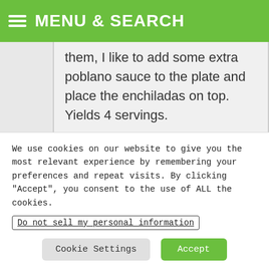MENU & SEARCH
them, I like to add some extra poblano sauce to the plate and place the enchiladas on top. Yields 4 servings.
We use cookies on our website to give you the most relevant experience by remembering your preferences and repeat visits. By clicking “Accept”, you consent to the use of ALL the cookies.
Do not sell my personal information
Cookie Settings
Accept